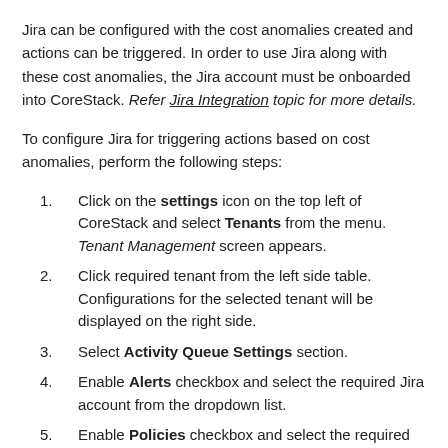Jira can be configured with the cost anomalies created and actions can be triggered. In order to use Jira along with these cost anomalies, the Jira account must be onboarded into CoreStack. Refer Jira Integration topic for more details.
To configure Jira for triggering actions based on cost anomalies, perform the following steps:
1. Click on the settings icon on the top left of CoreStack and select Tenants from the menu. Tenant Management screen appears.
2. Click required tenant from the left side table. Configurations for the selected tenant will be displayed on the right side.
3. Select Activity Queue Settings section.
4. Enable Alerts checkbox and select the required Jira account from the dropdown list.
5. Enable Policies checkbox and select the required Jira account from the dropdown list.